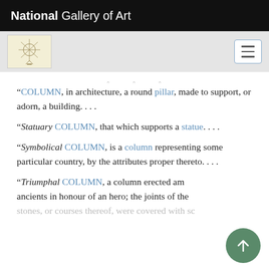National Gallery of Art
“COLUMN, in architecture, a round pillar, made to support, or adorn, a building. . . .
“Statuary COLUMN, that which supports a statue. . . .
“Symbolical COLUMN, is a column representing some particular country, by the attributes proper thereto. . . .
“Triumphal COLUMN, a column erected am… ancients in honour of an hero; the joints of the… stones, or courses thereof, were covered with sc…